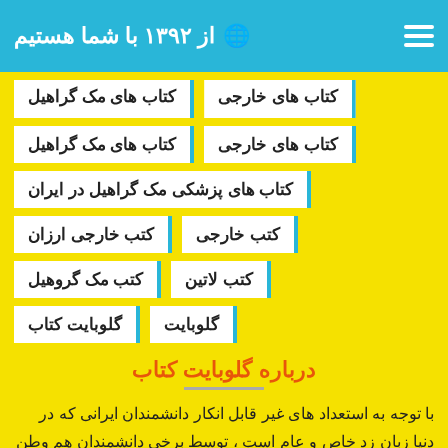از ۱۳۹۲ با شما هستیم
کتاب های مک گراهیل
کتاب های خارجی
کتاب های پزشکی مک گراهیل در ایران
کتب خارجی ارزان
کتب خارجی
کتب مک گروهیل
کتب لاتین
گلوبایت کتاب
گلوبایت
درباره گلوبایت کتاب
با توجه به استعداد های غیر قابل انکار دانشمندان ایرانی که در دنیا زبان زد خاص و عام است ، توسط برخی دانشمندان هم وطن توصیه گرفته